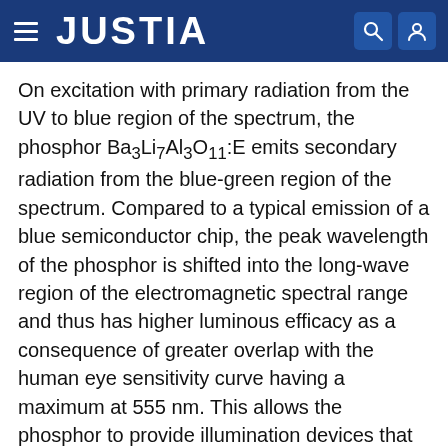JUSTIA
On excitation with primary radiation from the UV to blue region of the spectrum, the phosphor Ba3Li7Al3O11:E emits secondary radiation from the blue-green region of the spectrum. Compared to a typical emission of a blue semiconductor chip, the peak wavelength of the phosphor is shifted into the long-wave region of the electromagnetic spectral range and thus has higher luminous efficacy as a consequence of greater overlap with the human eye sensitivity curve having a maximum at 555 nm. This allows the phosphor to provide illumination devices that have comparatively high luminous efficacy.
In at least one embodiment, the phosphor crystallizes in a cubic crystal system. In a non-limiting embodiment, the phosphor crystallizes in the cubic space group Fm 3